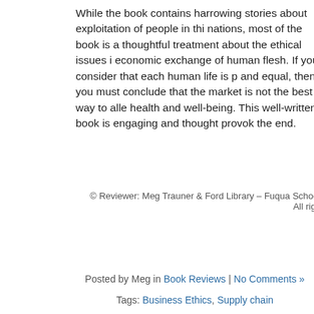While the book contains harrowing stories about exploitation of people in thi nations, most of the book is a thoughtful treatment about the ethical issues i economic exchange of human flesh. If you consider that each human life is p and equal, then you must conclude that the market is not the best way to all health and well-being. This well-written book is engaging and thought provok the end.
© Reviewer: Meg Trauner & Ford Library – Fuqua School of All rights
Posted by Meg in Book Reviews | No Comments »
Tags: Business Ethics, Supply chain